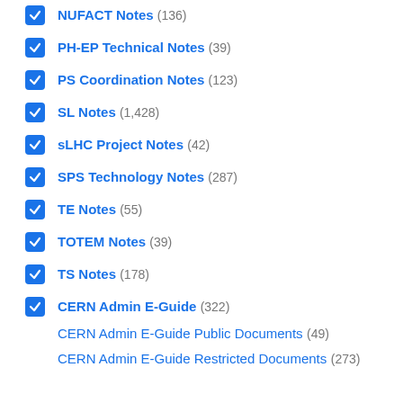NUFACT Notes (136)
PH-EP Technical Notes (39)
PS Coordination Notes (123)
SL Notes (1,428)
sLHC Project Notes (42)
SPS Technology Notes (287)
TE Notes (55)
TOTEM Notes (39)
TS Notes (178)
CERN Admin E-Guide (322)
CERN Admin E-Guide Public Documents (49)
CERN Admin E-Guide Restricted Documents (273)